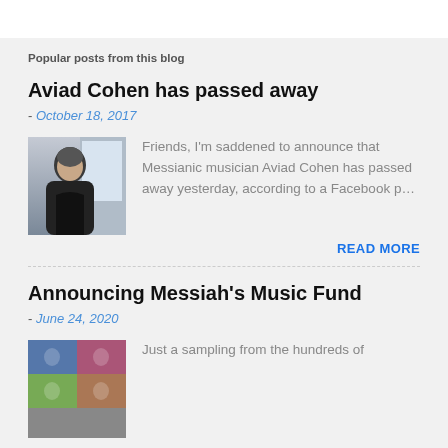Popular posts from this blog
Aviad Cohen has passed away
- October 18, 2017
[Figure (photo): Photo of Aviad Cohen, a man in a dark jacket against a light background]
Friends, I'm saddened to announce that Messianic musician Aviad Cohen has passed away yesterday, according to a Facebook p…
READ MORE
Announcing Messiah's Music Fund
- June 24, 2020
[Figure (photo): Collage of four images related to Messiah's Music Fund]
Just a sampling from the hundreds of